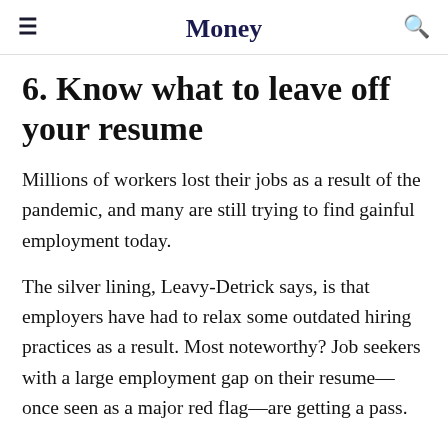Money
6. Know what to leave off your resume
Millions of workers lost their jobs as a result of the pandemic, and many are still trying to find gainful employment today.
The silver lining, Leavy-Detrick says, is that employers have had to relax some outdated hiring practices as a result. Most noteworthy? Job seekers with a large employment gap on their resume—once seen as a major red flag—are getting a pass.